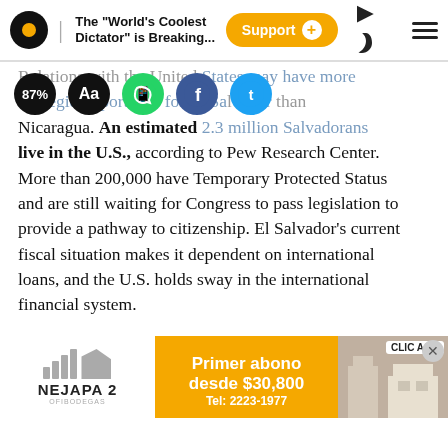The "World's Coolest Dictator" is Breaking...
Relations with the United States may have more strategic importance for El Salvador than Nicaragua. An estimated 2.3 million Salvadorans live in the U.S., according to Pew Research Center. More than 200,000 have Temporary Protected Status and are still waiting for Congress to pass legislation to provide a pathway to citizenship. El Salvador's current fiscal situation makes it dependent on international loans, and the U.S. holds sway in the international financial system.
Sources in Washington said this week that U.S. pressure on the International Monetary Fund (IMF) not to approve a new agreement with the country is certain from now on. The fund is preparing a new round of meetings with the Bukele government in the coming weeks, but analysts are beginning to think that Bukele understands he needs to demonstrate a tendency of progress outside the IMF as well.